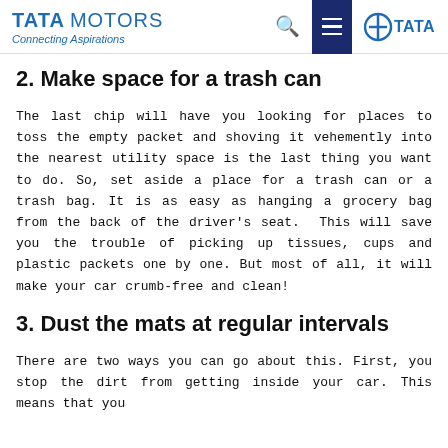TATA MOTORS Connecting Aspirations
2. Make space for a trash can
The last chip will have you looking for places to toss the empty packet and shoving it vehemently into the nearest utility space is the last thing you want to do. So, set aside a place for a trash can or a trash bag. It is as easy as hanging a grocery bag from the back of the driver's seat. This will save you the trouble of picking up tissues, cups and plastic packets one by one. But most of all, it will make your car crumb-free and clean!
3. Dust the mats at regular intervals
There are two ways you can go about this. First, you stop the dirt from getting inside your car. This means that you